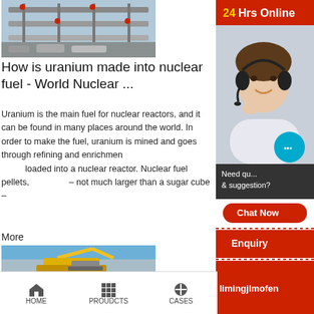[Figure (photo): Industrial conveyor belt or nuclear fuel processing facility, aerial/elevated view with red accents]
How is uranium made into nuclear fuel - World Nuclear ...
Uranium is the main fuel for nuclear reactors, and it can be found in many places around the world. In order to make the fuel, uranium is mined and goes through refining and enrichmen... loaded into a nuclear reactor. Nuclear fuel pellets, – not much larger than a sugar cube –
More
[Figure (photo): Mining excavator and crushing machinery with gravel/aggregate piles]
Conversion – World Nuclear Associatio...
[Figure (photo): Advertisement overlay: 24Hrs Online banner with customer service agent wearing headset, chat bubble, Need query & suggestion?, Chat Now button, Enquiry, limingjlmofen]
HOME   PROUDCTS   CASES   limingjlmofen